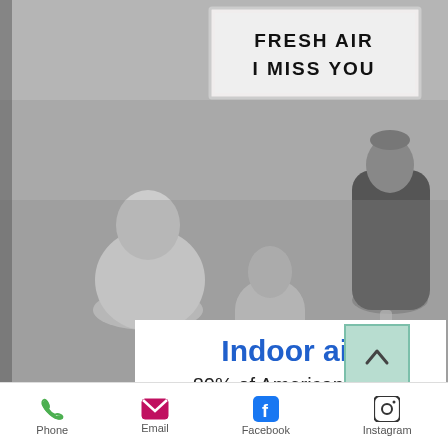[Figure (photo): Black and white photo of people sitting indoors at tables with a sign reading 'FRESH AIR I MISS YOU' on the wall]
Indoor air
80% of Americans are unaware of the elevated levels of indoor mold
Phone  Email  Facebook  Instagram